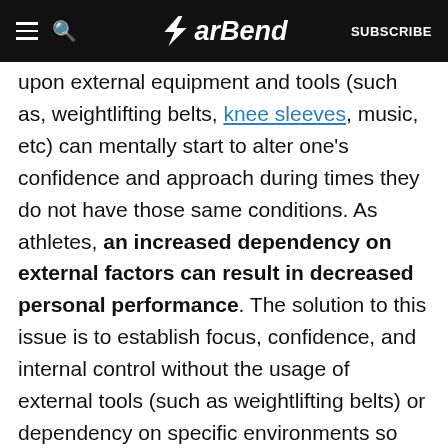BarBend — SUBSCRIBE
upon external equipment and tools (such as, weightlifting belts, knee sleeves, music, etc) can mentally start to alter one's confidence and approach during times they do not have those same conditions. As athletes, an increased dependency on external factors can result in decreased personal performance. The solution to this issue is to establish focus, confidence, and internal control without the usage of external tools (such as weightlifting belts) or dependency on specific environments so that when we are in a heightened state of competition and for